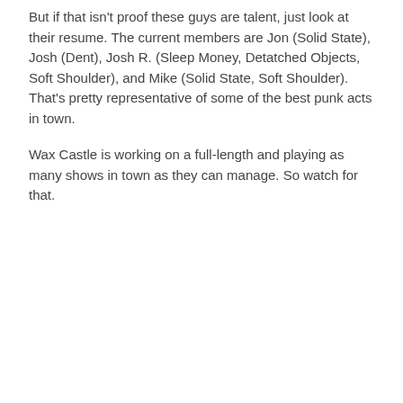But if that isn't proof these guys are talent, just look at their resume. The current members are Jon (Solid State), Josh (Dent), Josh R. (Sleep Money, Detatched Objects, Soft Shoulder), and Mike (Solid State, Soft Shoulder). That's pretty representative of some of the best punk acts in town.
Wax Castle is working on a full-length and playing as many shows in town as they can manage. So watch for that.